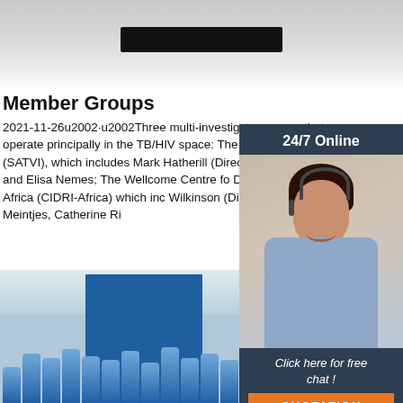[Figure (photo): Top portion of a grey industrial warehouse floor photo strip]
Member Groups
2021-11-26u2002·u2002Three multi-investigator groups that operate principally in the TB/HIV space: The South African TB (SATVI), which includes Mark Hatherill (Director), Ton Director) and Elisa Nemes; The Wellcome Centre fo Diseases Research in Africa (CIDRI-Africa) which inc Wilkinson (Director), Graeme Meintjes, Catherine Ri
[Figure (photo): Chat widget overlay showing a woman with headset, '24/7 Online' text, 'Click here for free chat!' and orange QUOTATION button]
[Figure (photo): Get Price orange button]
[Figure (photo): Bottom photo showing industrial submersible pumps lined up in front of a blue panel with green cylinders in background and TOP logo]